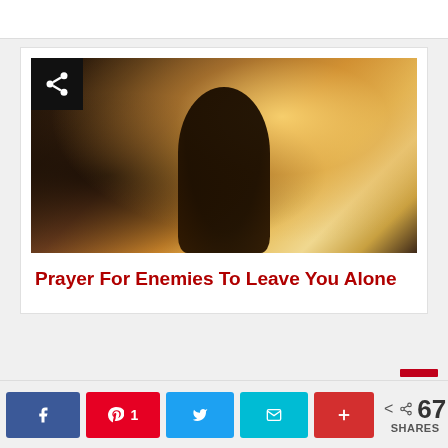[Figure (photo): Person seen from behind with curly hair backlit by warm golden light in a dark forest setting, with a share icon overlay in the top-left corner]
Prayer For Enemies To Leave You Alone
[Figure (infographic): Social share buttons: Facebook, Pinterest with count 1, Twitter, Email, More (+), and share count showing 67 SHARES]